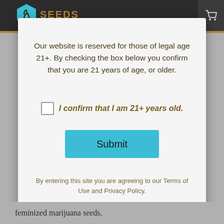[Figure (screenshot): Age verification modal dialog on a marijuana seeds website. The modal contains a message about legal age 21+, a checkbox to confirm age, a Submit button, and a footer note about Terms of Use and Privacy Policy. Background shows a dark navigation bar with a teal hexagon logo and 'SEEDS' text.]
Our website is reserved for those of legal age 21+. By checking the box below you confirm that you are 21 years of age, or older.
I confirm that I am 21+ years old.
Submit
By entering this site you are agreeing to our Terms of Use and Privacy Policy.
feminized marijuana seeds.